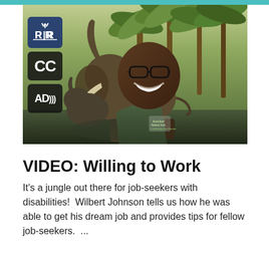[Figure (photo): Video thumbnail showing a smiling young Black man wearing a dark green polo shirt with a nature center logo, standing in front of an elephant statue and fountain at what appears to be a zoo or nature center. Overlaid badges on the left show: RR logo (Royal Rangers or similar), CC (closed captions), and AD (audio description) icons.]
VIDEO: Willing to Work
It's a jungle out there for job-seekers with disabilities!  Wilbert Johnson tells us how he was able to get his dream job and provides tips for fellow job-seekers.  ...